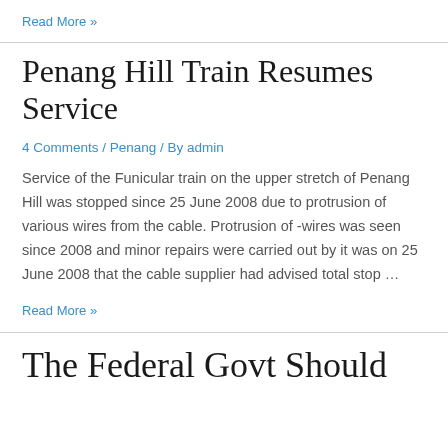Read More »
Penang Hill Train Resumes Service
4 Comments / Penang / By admin
Service of the Funicular train on the upper stretch of Penang Hill was stopped since 25 June 2008 due to protrusion of various wires from the cable. Protrusion of -wires was seen since 2008 and minor repairs were carried out by it was on 25 June 2008 that the cable supplier had advised total stop …
Read More »
The Federal Govt Should